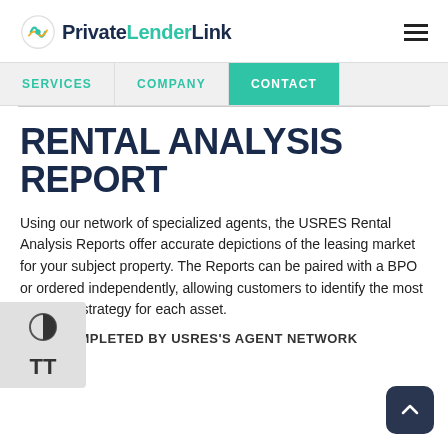PrivateLenderLink
SERVICES | COMPANY | CONTACT
RENTAL ANALYSIS REPORT
Using our network of specialized agents, the USRES Rental Analysis Reports offer accurate depictions of the leasing market for your subject property. The Reports can be paired with a BPO or ordered independently, allowing customers to identify the most profitable strategy for each asset.
COMPLETED BY USRES'S AGENT NETWORK